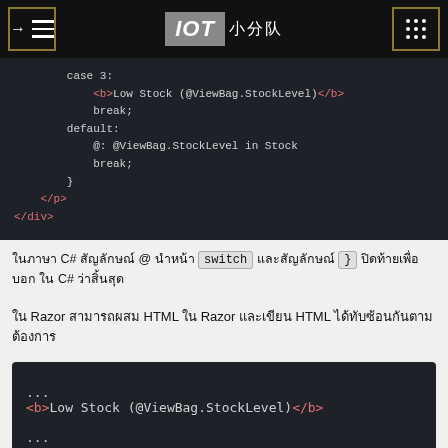IOT 小分队
[Figure (screenshot): Dark-themed code block showing Razor/C# switch-case code with case 3 Low Stock, break, default, and closing tags </p> </div>]
ในภาษา C# สัญลักษณ์ @ นำหน้า switch และสัญลักษณ์ } ปิดท้ายเพื่อบอก C# ว่าสิ้นสุด
ใน Razor สามารถผสม HTML ใน Razor และเขียน HTML ได้ทับซ้อนกันตามต้องการ
[Figure (screenshot): Dark-themed code block showing: ... <b>Low Stock (@ViewBag.StockLevel)</b> ...]